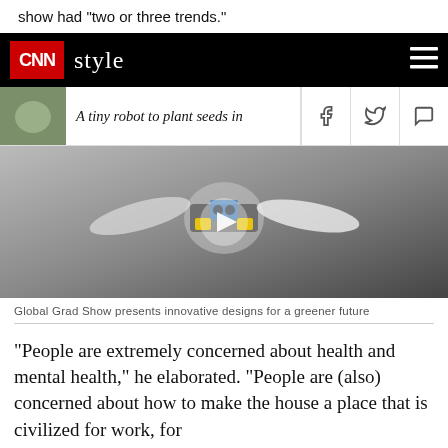show had "two or three trends."
CNN style
A tiny robot to plant seeds in
[Figure (photo): A small drone/robot with propellers and electronic components being held by a person, shown in a video player interface]
Global Grad Show presents innovative designs for a greener future
"People are extremely concerned about health and mental health," he elaborated. "People are (also) concerned about how to make the house a place that is civilized for work, for